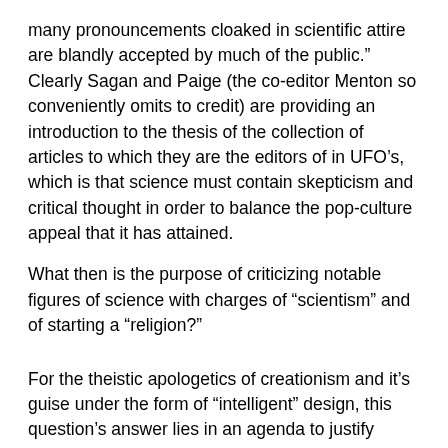many pronouncements cloaked in scientific attire are blandly accepted by much of the public.” Clearly Sagan and Paige (the co-editor Menton so conveniently omits to credit) are providing an introduction to the thesis of the collection of articles to which they are the editors of in UFO’s, which is that science must contain skepticism and critical thought in order to balance the pop-culture appeal that it has attained.
What then is the purpose of criticizing notable figures of science with charges of “scientism” and of starting a “religion?”
For the theistic apologetics of creationism and it’s guise under the form of “intelligent” design, this question’s answer lies in an agenda to justify beliefs and promote doubt among believers. Indeed, the much talked about “wedge strategy” dictates, among it’s goals, to seed doubt among lay persons regarding the validity of the science behind evolutionary processes in order to further the creationist agenda.